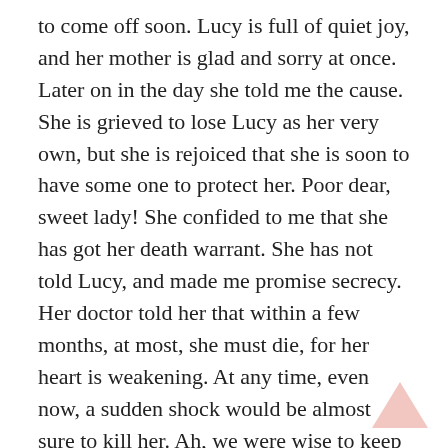to come off soon. Lucy is full of quiet joy, and her mother is glad and sorry at once. Later on in the day she told me the cause. She is grieved to lose Lucy as her very own, but she is rejoiced that she is soon to have some one to protect her. Poor dear, sweet lady! She confided to me that she has got her death warrant. She has not told Lucy, and made me promise secrecy. Her doctor told her that within a few months, at most, she must die, for her heart is weakening. At any time, even now, a sudden shock would be almost sure to kill her. Ah, we were wise to keep from her the affair of the dreadful night of Lucy's sleep-walking.
17 August.-No diary for two whole days. I have not had the heart to write. Some sort of shadowy pall seems to be coming over our happiness. No news from Jonathan, and Lucy seems to be growing